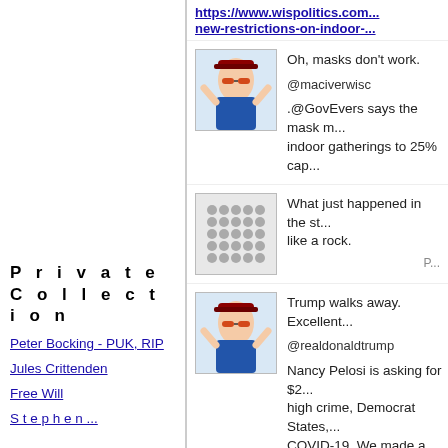https://www.wispolitics.com/new-restrictions-on-indoor-...
Oh, masks don't work.
@maciverwisc
.@GovEvers says the mask m... indoor gatherings to 25% cap...
What just happened in the st... like a rock.
P...
Trump walks away. Excellent...
@realdonaldtrump
Nancy Pelosi is asking for $2... high crime, Democrat States,... COVID-19. We made a very...
Private Collection
Peter Bocking - PUK, RIP
Jules Crittenden
Free Will
...